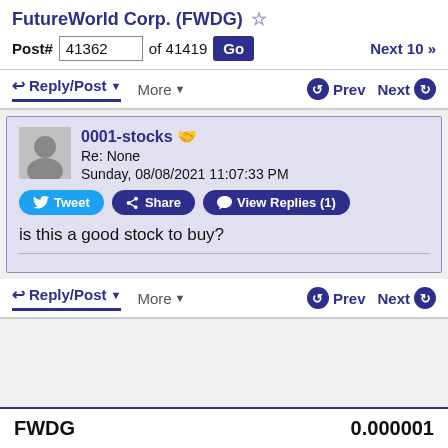FutureWorld Corp. (FWDG)
Post# 41362 of 41419 Go  Next 10 »
↩ Reply/Post ▼  More ▼  ⬤ Prev  Next ⬤
0001-stocks
Re: None
Sunday, 08/08/2021 11:07:33 PM
Tweet  Share  View Replies (1)
is this a good stock to buy?
↩ Reply/Post ▼  More ▼  ⬤ Prev  Next ⬤
FWDG  0.000001